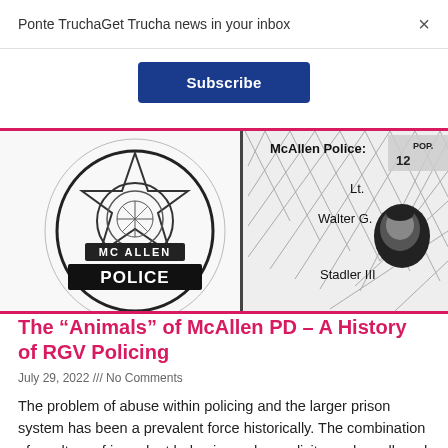Ponte TruchaGet Trucha news in your inbox
Subscribe
[Figure (illustration): Black and white illustration showing a McAllen Police badge on the left with 'MC ALLEN POLICE' text, and a chain-link fence background on the right with text 'McAllen Police:' at top, 'Lt.' below, 'Walter G.' and a portrait photo of a man, and 'Stadler III' at bottom. A partial 'POP. 12' sign is visible in the upper right corner.]
The “Animals” of McAllen PD – A History of RGV Policing
July 29, 2022 /// No Comments
The problem of abuse within policing and the larger prison system has been a prevalent force historically. The combination of a culture of impudent behavior and complicity, and an alleged government coverup were the standout characteristics in the case